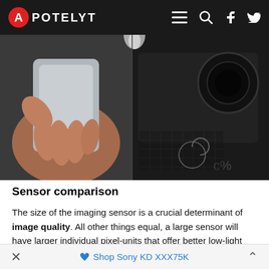APOTELYT
[Figure (photo): A hand holding a grey card/device on the left side, and camera/electronics equipment on a dark surface on the right side.]
Sensor comparison
The size of the imaging sensor is a crucial determinant of image quality. All other things equal, a large sensor will have larger individual pixel-units that offer better low-light sensitivity, wider dynamic range, and richer color-depth than smaller pixels in a sensor of the same technological generation. Further, a large sensor camera will give the photographer additional creative options when using shallow depth-of-field to isolate a subject from its background. On
Shop Sony KD XXX75K